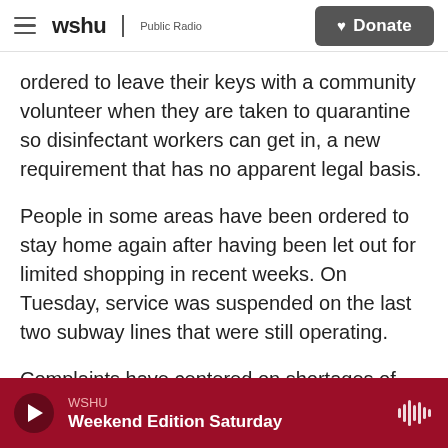wshu Public Radio | Donate
ordered to leave their keys with a community volunteer when they are taken to quarantine so disinfectant workers can get in, a new requirement that has no apparent legal basis.
People in some areas have been ordered to stay home again after having been let out for limited shopping in recent weeks. On Tuesday, service was suspended on the last two subway lines that were still operating.
Complaints have centered on shortages of food and other daily necessities and the forced removal
WSHU – Weekend Edition Saturday